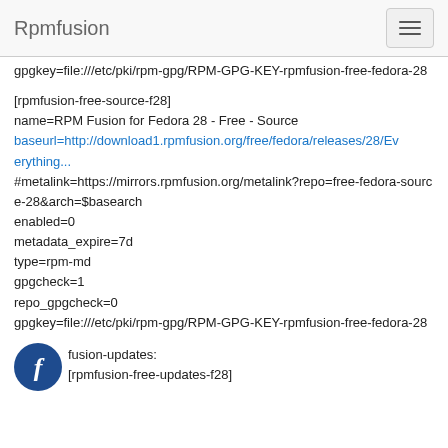Rpmfusion
gpgkey=file:///etc/pki/rpm-gpg/RPM-GPG-KEY-rpmfusion-free-fedora-28
[rpmfusion-free-source-f28]
name=RPM Fusion for Fedora 28 - Free - Source
baseurl=http://download1.rpmfusion.org/free/fedora/releases/28/Everything...
#metalink=https://mirrors.rpmfusion.org/metalink?repo=free-fedora-source-28&arch=$basearch
enabled=0
metadata_expire=7d
type=rpm-md
gpgcheck=1
repo_gpgcheck=0
gpgkey=file:///etc/pki/rpm-gpg/RPM-GPG-KEY-rpmfusion-free-fedora-28
fusion-updates:
[rpmfusion-free-updates-f28]